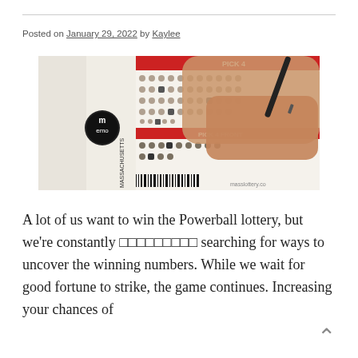Posted on January 29, 2022 by Kaylee
[Figure (photo): A hand filling out a lottery ticket (Powerball/Massachusetts lottery bubble sheet) with a pen, showing numbered bubble grids and lottery branding.]
A lot of us want to win the Powerball lottery, but we're constantly 🔴🔵🔴🔵🔴🔵🔴🔵🔴 searching for ways to uncover the winning numbers. While we wait for good fortune to strike, the game continues. Increasing your chances of